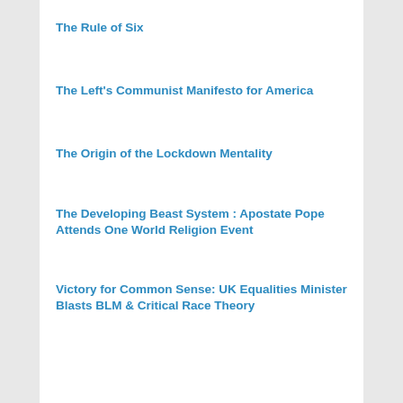The Rule of Six
The Left's Communist Manifesto for America
The Origin of the Lockdown Mentality
The Developing Beast System : Apostate Pope Attends One World Religion Event
Victory for Common Sense: UK Equalities Minister Blasts BLM & Critical Race Theory